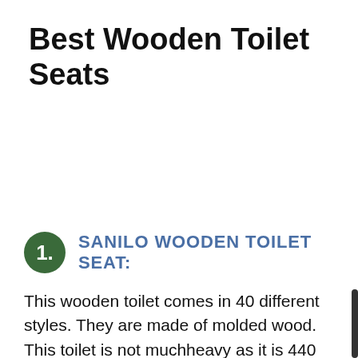Best Wooden Toilet Seats
1. SANILO WOODEN TOILET SEAT:
This wooden toilet comes in 40 different styles. They are made of molded wood. This toilet is not muchheavy as it is 440 pounds. This is a comfortable toilet seat